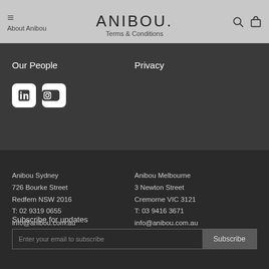ANIBOU.
About Anibou
Terms & Conditions
Our People
Privacy
[Figure (logo): LinkedIn and Instagram social media icons]
Anibou Sydney
726 Bourke Street
Redfern NSW 2016
T: 02 9319 0655
info@anibou.com.au
Anibou Melbourne
3 Newton Street
Cremorne VIC 3121
T: 03 9416 3671
info@anibou.com.au
Subscribe for updates
Enter your email to subscribe
Subscribe